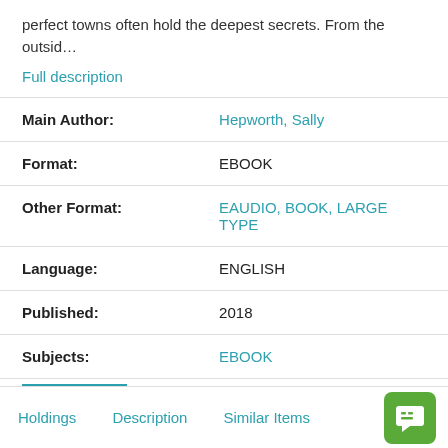perfect towns often hold the deepest secrets. From the outsid…
Full description
| Field | Value |
| --- | --- |
| Main Author: | Hepworth, Sally |
| Format: | EBOOK |
| Other Format: | EAUDIO, BOOK, LARGE TYPE |
| Language: | ENGLISH |
| Published: | 2018 |
| Subjects: | EBOOK |
Holdings   Description   Similar Items